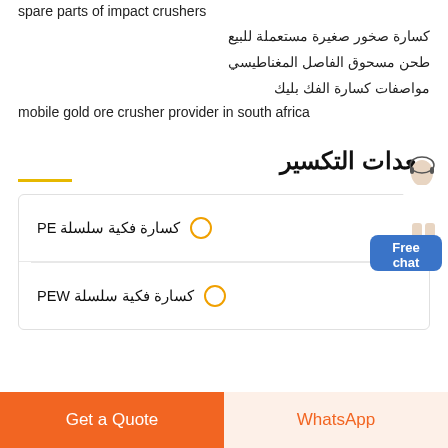nama fungsi dan foto alat tambang
spare parts of impact crushers
كسارة صخور صغيرة مستعملة للبيع
طحن مسحوق الفاصل المغناطيسي
مواصفات كسارة الفك بليك
mobile gold ore crusher provider in south africa
معدات التكسير
كسارة فكية سلسلة PE
كسارة فكية سلسلة PEW